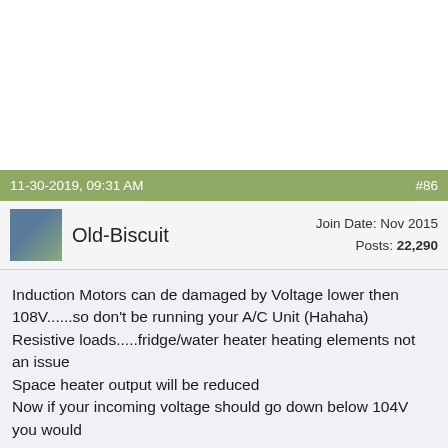11-30-2019, 09:31 AM   #86
Old-Biscuit   Join Date: Nov 2015   Posts: 22,290
Induction Motors can de damaged by Voltage lower then 108V......so don't be running your A/C Unit (Hahaha)
Resistive loads.....fridge/water heater heating elements not an issue
Space heater output will be reduced
Now if your incoming voltage should go down below 104V you would